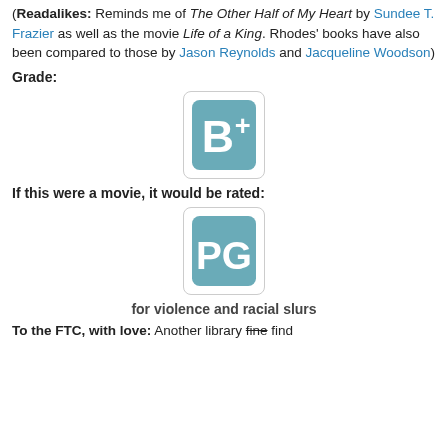(Readalikes: Reminds me of The Other Half of My Heart by Sundee T. Frazier as well as the movie Life of a King. Rhodes' books have also been compared to those by Jason Reynolds and Jacqueline Woodson)
Grade:
[Figure (logo): Teal rounded-rectangle badge with large white letters B+]
If this were a movie, it would be rated:
[Figure (logo): Teal rounded-rectangle badge with large white letters PG]
for violence and racial slurs
To the FTC, with love: Another library fine find